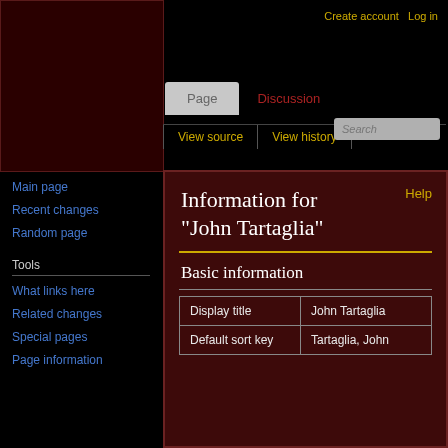Create account  Log in
Page  Discussion  View source  View history  Search
Main page
Recent changes
Random page
Tools
What links here
Related changes
Special pages
Page information
Information for "John Tartaglia"
Basic information
|  |  |
| --- | --- |
| Display title | John Tartaglia |
| Default sort key | Tartaglia, John |